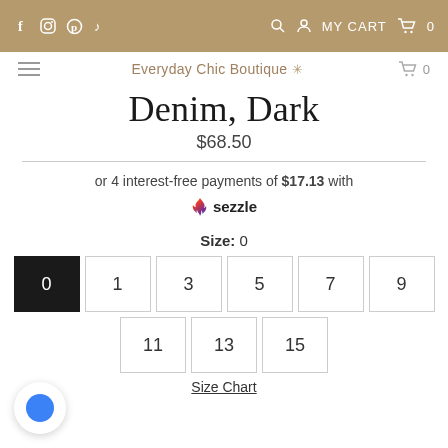Social icons: f, Instagram, Pinterest, TikTok | MY CART 0
Everyday Chic Boutique | Cart 0
Denim, Dark
$68.50
or 4 interest-free payments of $17.13 with Sezzle
Size: 0
Sizes: 0 (selected), 1, 3, 5, 7, 9, 11, 13, 15
Size Chart